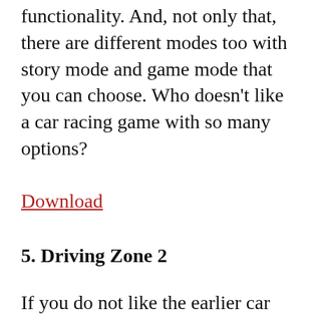functionality. And, not only that, there are different modes too with story mode and game mode that you can choose. Who doesn't like a car racing game with so many options?
Download
5. Driving Zone 2
If you do not like the earlier car racing game or just want another option in the car racing game then here we have another game for you. It's not an ordinary car racing game